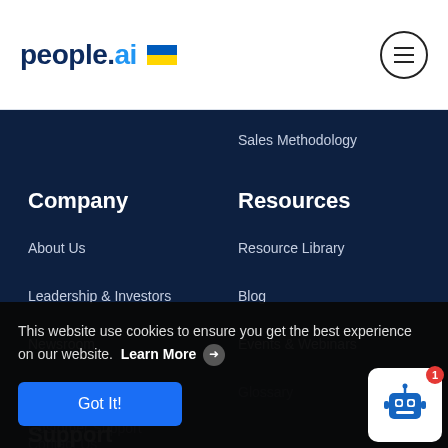[Figure (logo): people.ai logo with Ukrainian flag and hamburger menu icon in white header]
Sales Methodology
Company
Resources
About Us
Resource Library
Leadership & Investors
Blog
Newsroom
Events & Webinars
Careers
Glossary
Support
Customer Support
Contact Us
This website use cookies to ensure you get the best experience on our website.  Learn More →  Got It!